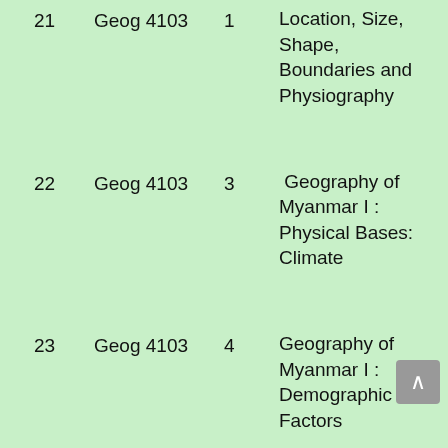| # | Course | Unit | Title |
| --- | --- | --- | --- |
| 21 | Geog 4103 | 1 | Location, Size, Shape, Boundaries and Physiography |
| 22 | Geog 4103 | 3 | Geography of Myanmar I : Physical Bases: Climate |
| 23 | Geog 4103 | 4 | Geography of Myanmar I : Demographic Factors |
|  |  |  | Geography of |